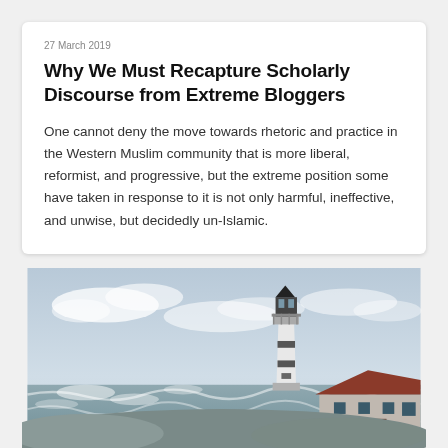27 March 2019
Why We Must Recapture Scholarly Discourse from Extreme Bloggers
One cannot deny the move towards rhetoric and practice in the Western Muslim community that is more liberal, reformist, and progressive, but the extreme position some have taken in response to it is not only harmful, ineffective, and unwise, but decidedly un-Islamic.
[Figure (photo): Photograph of a lighthouse on a rocky coast with rough ocean waves and a cloudy sky. Red-roofed buildings are visible at the base.]